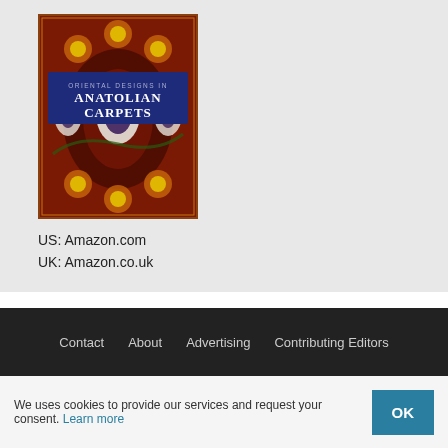[Figure (illustration): Book cover of 'Anatolian Carpets' featuring colorful traditional carpet patterns with intricate symmetrical designs in reds, oranges, greens, and yellows, with a dark blue title banner.]
US: Amazon.com
UK: Amazon.co.uk
Contact   About   Advertising   Contributing Editors
We uses cookies to provide our services and request your consent. Learn more